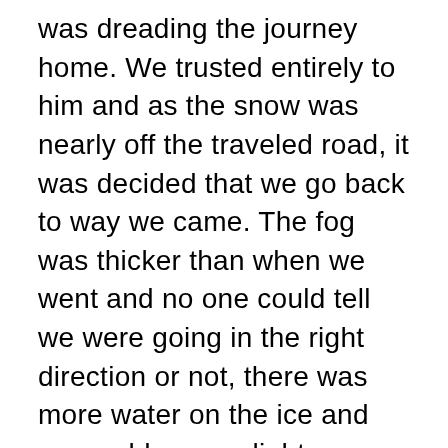was dreading the journey home. We trusted entirely to him and as the snow was nearly off the traveled road, it was decided that we go back to way we came. The fog was thicker than when we went and no one could tell we were going in the right direction or not, there was more water on the ice and we could see no lights or shore, besides, there were air holes we might get into. When we were safely across another difficulty arose. Where were we to land? The distance from the ice to the bank, the thin edge, the steep ascent up the bank among the brush, all had to be taken into account for we could not find where we had entered the lake earlier. Jack finally found a place where he thought it was safe, told us to "hold